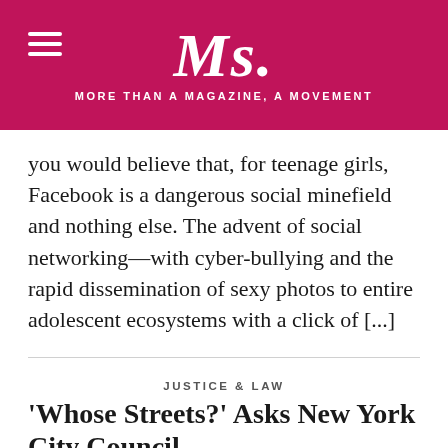Ms. MORE THAN A MAGAZINE, A MOVEMENT
you would believe that, for teenage girls, Facebook is a dangerous social minefield and nothing else. The advent of social networking—with cyber-bullying and the rapid dissemination of sexy photos to entire adolescent ecosystems with a click of [...]
JUSTICE & LAW
'Whose Streets?' Asks New York City Council
SHAKTHI JOTHIANANDAN
By Shakthi Jothianandan It's been a long time coming, but yesterday the New York City Council